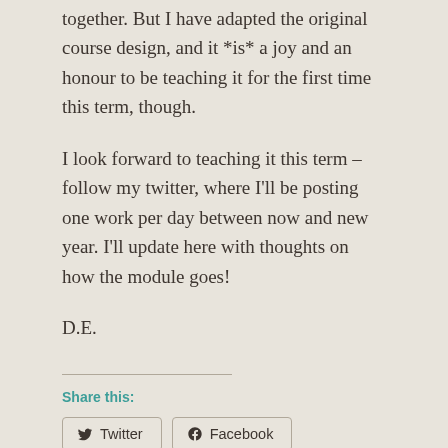together. But I have adapted the original course design, and it *is* a joy and an honour to be teaching it for the first time this term, though.
I look forward to teaching it this term – follow my twitter, where I'll be posting one work per day between now and new year. I'll update here with thoughts on how the module goes!
D.E.
Share this:
Twitter  Facebook
Loading...